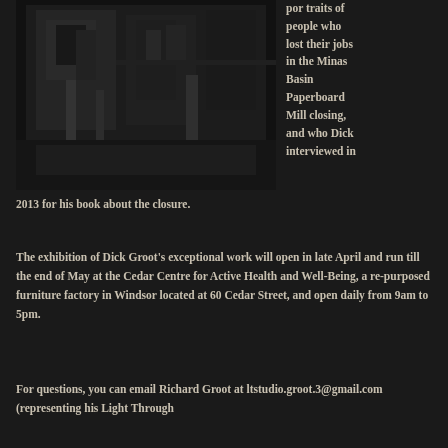[Figure (photo): Dark photograph showing a building exterior, appears to be a mill or industrial building at night or in low light conditions]
portraits of people who lost their jobs in the Minas Basin Paperboard Mill closing, and who Dick interviewed in 2013 for his book about the closure.
The exhibition of Dick Groot's exceptional work will open in late April and run till the end of May at the Cedar Centre for Active Health and Well-Being, a re-purposed furniture factory in Windsor located at 60 Cedar Street, and open daily from 9am to 5pm.
For questions, you can email Richard Groot at ltstudio.groot.3@gmail.com (representing his Light Through